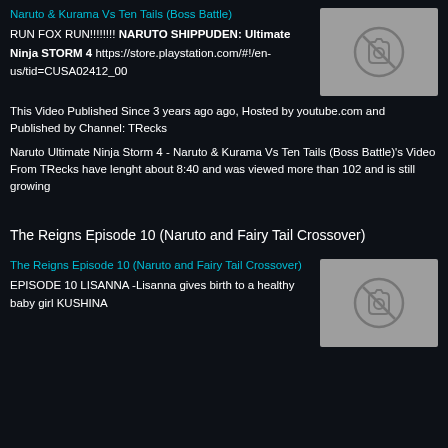Naruto & Kurama Vs Ten Tails (Boss Battle)
RUN FOX RUN!!!!!!!! NARUTO SHIPPUDEN: Ultimate Ninja STORM 4 https://store.playstation.com/#!/en-us/tid=CUSA02412_00
[Figure (photo): Thumbnail placeholder with camera icon, grey background]
This Video Published Since 3 years ago ago, Hosted by youtube.com and Published by Channel: TRecks
Naruto Ultimate Ninja Storm 4 - Naruto & Kurama Vs Ten Tails (Boss Battle)'s Video From TRecks have lenght about 8:40 and was viewed more than 102 and is still growing
The Reigns Episode 10 (Naruto and Fairy Tail Crossover)
The Reigns Episode 10 (Naruto and Fairy Tail Crossover)
EPISODE 10 LISANNA -Lisanna gives birth to a healthy baby girl KUSHINA
[Figure (photo): Thumbnail placeholder with camera icon, grey background]